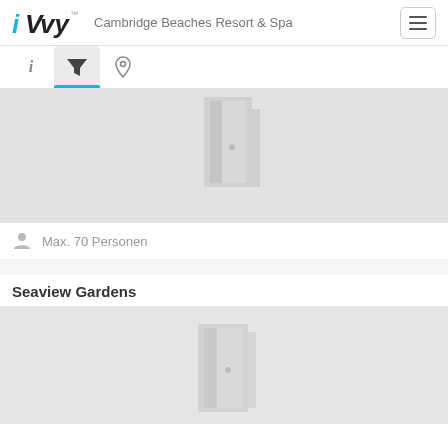iVvy  Cambridge Beaches Resort & Spa
[Figure (screenshot): Navigation tab bar with info (i), filter (funnel icon active with blue underline), and location (pin) icons]
[Figure (photo): Room image placeholder showing a gray door graphic on light gray background]
Max. 70 Personen
Seaview Gardens
[Figure (photo): Room image placeholder showing a gray door graphic on light gray background for Seaview Gardens]